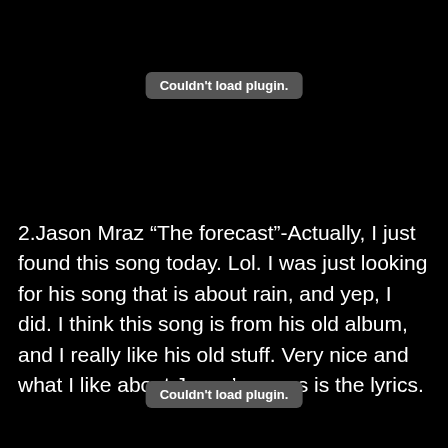[Figure (other): Plugin placeholder badge reading 'Couldn't load plugin.' at top of page]
2.Jason Mraz “The forecast”-Actually, I just found this song today. Lol. I was just looking for his song that is about rain, and yep, I did. I think this song is from his old album, and I really like his old stuff. Very nice and what I like about Jason’s songs is the lyrics.
[Figure (other): Plugin placeholder badge reading 'Couldn't load plugin.' at bottom of page]